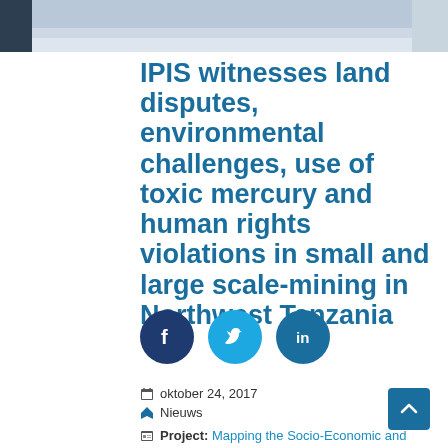[Figure (photo): Top banner image of a mining or outdoor scene, partially visible]
IPIS witnesses land disputes, environmental challenges, use of toxic mercury and human rights violations in small and large scale-mining in Northwest Tanzania
[Figure (infographic): Social sharing icons: Facebook, Twitter, LinkedIn]
oktober 24, 2017
Nieuws
Project: Mapping the Socio-Economic and